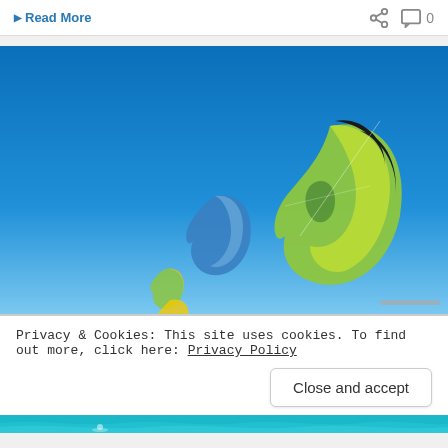▶ Read More
[Figure (photo): Green and yellow kitesurfing kite in flight against a clear blue sky, with smaller blue kite and additional kites in background]
Privacy & Cookies: This site uses cookies. To find out more, click here: Privacy Policy
Close and accept